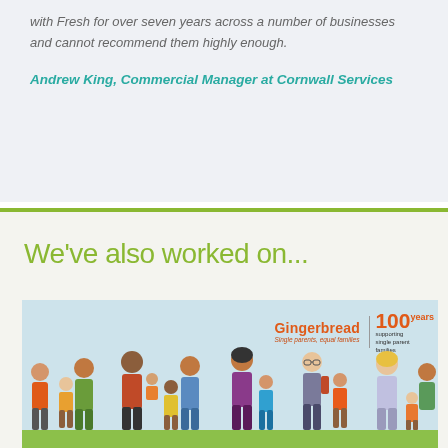with Fresh for over seven years across a number of businesses and cannot recommend them highly enough.
Andrew King, Commercial Manager at Cornwall Services
We've also worked on...
[Figure (illustration): Gingerbread charity banner with illustrated diverse group of adults and children standing on a green ground. Gingerbread logo top right: 'Gingerbread, Single parents, equal families' with '100 years supporting single parent families' badge.]